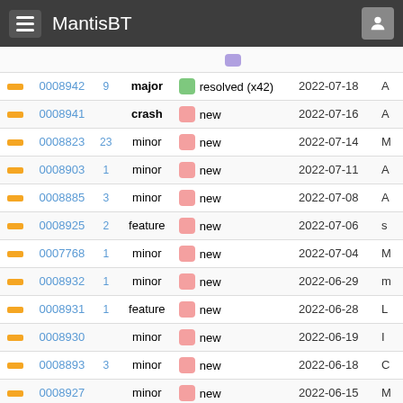MantisBT
|  | ID | # | Severity | Status | Date |  |
| --- | --- | --- | --- | --- | --- | --- |
| — | 0008942 | 9 | major | resolved (x42) | 2022-07-18 | A |
| — | 0008941 |  | crash | new | 2022-07-16 | A |
| — | 0008823 | 23 | minor | new | 2022-07-14 | M |
| — | 0008903 | 1 | minor | new | 2022-07-11 | A |
| — | 0008885 | 3 | minor | new | 2022-07-08 | A |
| — | 0008925 | 2 | feature | new | 2022-07-06 | s |
| — | 0007768 | 1 | minor | new | 2022-07-04 | M |
| — | 0008932 | 1 | minor | new | 2022-06-29 | m |
| — | 0008931 | 1 | feature | new | 2022-06-28 | L |
| — | 0008930 |  | minor | new | 2022-06-19 | I |
| — | 0008893 | 3 | minor | new | 2022-06-18 | C |
| — | 0008927 |  | minor | new | 2022-06-15 | M |
| ▲ | 0008926 | 1 | feature | new | 2022-06-15 | M |